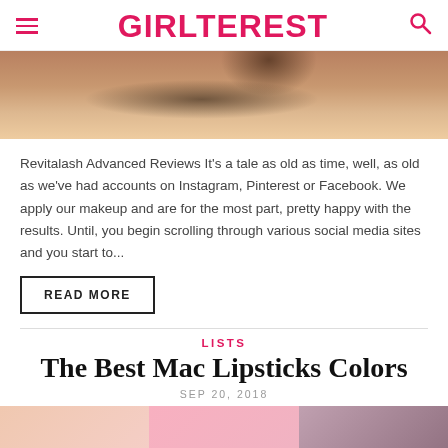GIRLTEREST
[Figure (photo): Close-up photo of a human eye with eyelashes, pale skin texture visible]
Revitalash Advanced Reviews It's a tale as old as time, well, as old as we've had accounts on Instagram, Pinterest or Facebook. We apply our makeup and are for the most part, pretty happy with the results. Until, you begin scrolling through various social media sites and you start to...
READ MORE
LISTS
The Best Mac Lipsticks Colors
SEP 20, 2018
[Figure (photo): Bottom strip of three partial images, appearing to show faces or beauty-related photos]